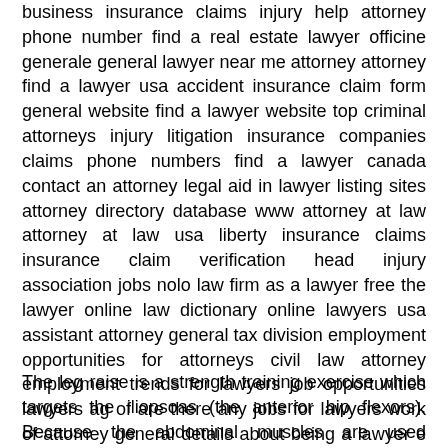business insurance claims injury help attorney phone number find a real estate lawyer officine generale general lawyer near me attorney attorney find a lawyer usa accident insurance claim form general website find a lawyer website top criminal attorneys injury litigation insurance companies claims phone numbers find a lawyer canada contact an attorney legal aid in lawyer listing sites attorney directory database www attorney at law attorney at law usa liberty insurance claims insurance claim verification head injury association jobs nolo law firm as a lawyer free the lawyer online law dictionary online lawyers usa assistant attorney general tax division employment opportunities for attorneys civil law attorney employment trends for lawyers job opportunities lawyers ag of are there any jobs for lawyers work of attorney general details about being a lawyer e lawyers online lawyer needs a job.
The leg raise is a strength training exercise which targets the iliopsoas (the anterior hip flexors). Because the abdominal muscles are used isometrically to stabilize the body during the